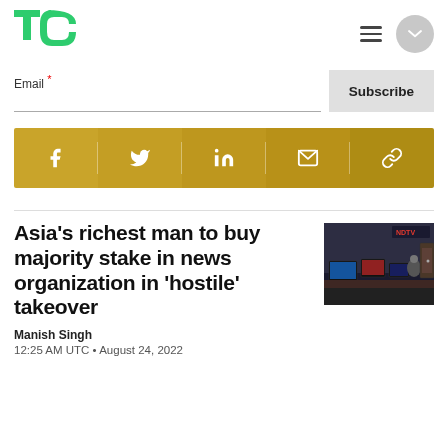[Figure (logo): TechCrunch TC green logo]
Email *
Subscribe
[Figure (infographic): Social sharing bar with Facebook, Twitter, LinkedIn, Email, and Link icons on gold background]
Asia's richest man to buy majority stake in news organization in 'hostile' takeover
[Figure (photo): Photo of a news studio interior with monitors showing NDTV]
Manish Singh
12:25 AM UTC • August 24, 2022